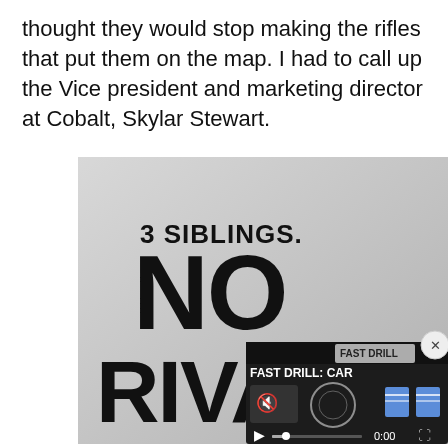thought they would stop making the rifles that put them on the map. I had to call up the Vice president and marketing director at Cobalt, Skylar Stewart.
[Figure (photo): Promotional image with light gray gradient background showing bold text: '3 SIBLINGS. NO RIVALRY' in large black condensed font. Lower right is partially overlaid by a video player thumbnail labeled 'FAST DRILL: CAR...' with playback controls, mute icon, 0:00 timestamp, and two blue target icons on the right. A close (x) button appears at top right of the video overlay.]